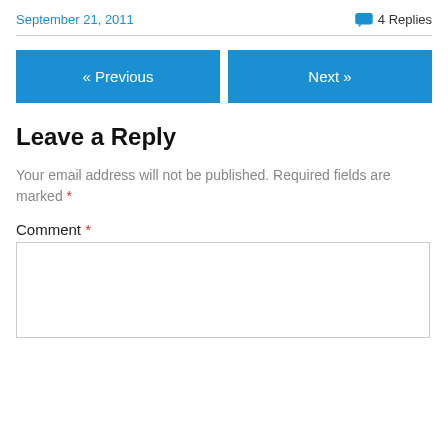September 21, 2011   4 Replies
« Previous   Next »
Leave a Reply
Your email address will not be published. Required fields are marked *
Comment *